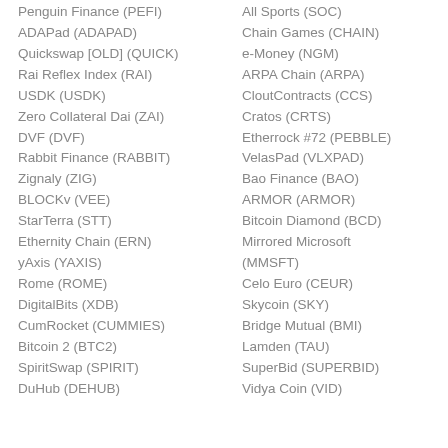Penguin Finance (PEFI)
ADAPad (ADAPAD)
Quickswap [OLD] (QUICK)
Rai Reflex Index (RAI)
USDK (USDK)
Zero Collateral Dai (ZAI)
DVF (DVF)
Rabbit Finance (RABBIT)
Zignaly (ZIG)
BLOCKv (VEE)
StarTerra (STT)
Ethernity Chain (ERN)
yAxis (YAXIS)
Rome (ROME)
DigitalBits (XDB)
CumRocket (CUMMIES)
Bitcoin 2 (BTC2)
SpiritSwap (SPIRIT)
DuHub (DEHUB)
All Sports (SOC)
Chain Games (CHAIN)
e-Money (NGM)
ARPA Chain (ARPA)
CloutContracts (CCS)
Cratos (CRTS)
Etherrock #72 (PEBBLE)
VelasPad (VLXPAD)
Bao Finance (BAO)
ARMOR (ARMOR)
Bitcoin Diamond (BCD)
Mirrored Microsoft (MMSFT)
Celo Euro (CEUR)
Skycoin (SKY)
Bridge Mutual (BMI)
Lamden (TAU)
SuperBid (SUPERBID)
Vidya Coin (VID)